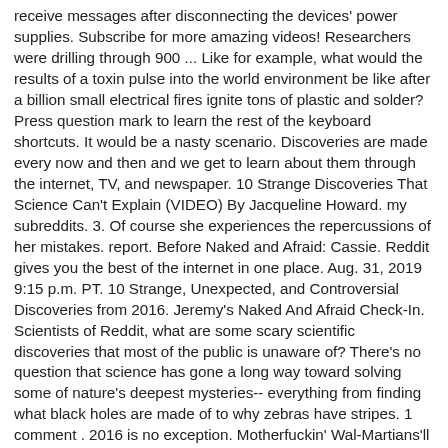receive messages after disconnecting the devices' power supplies. Subscribe for more amazing videos! Researchers were drilling through 900 ... Like for example, what would the results of a toxin pulse into the world environment be like after a billion small electrical fires ignite tons of plastic and solder? Press question mark to learn the rest of the keyboard shortcuts. It would be a nasty scenario. Discoveries are made every now and then and we get to learn about them through the internet, TV, and newspaper. 10 Strange Discoveries That Science Can't Explain (VIDEO) By Jacqueline Howard. my subreddits. 3. Of course she experiences the repercussions of her mistakes. report. Before Naked and Afraid: Cassie. Reddit gives you the best of the internet in one place. Aug. 31, 2019 9:15 p.m. PT. 10 Strange, Unexpected, and Controversial Discoveries from 2016. Jeremy's Naked And Afraid Check-In. Scientists of Reddit, what are some scary scientific discoveries that most of the public is unaware of? There's no question that science has gone a long way toward solving some of nature's deepest mysteries-- everything from finding what black holes are made of to why zebras have stripes. 1 comment . 2016 is no exception. Motherfuckin' Wal-Martians'll be barbecuing their neighbors within the week, you watch. December 8, 2020. Close. Actually.. this oddly calmed me down. December 14, 2020. Source Photo. Naked and Afraid. Reddit is a place for funny memes,